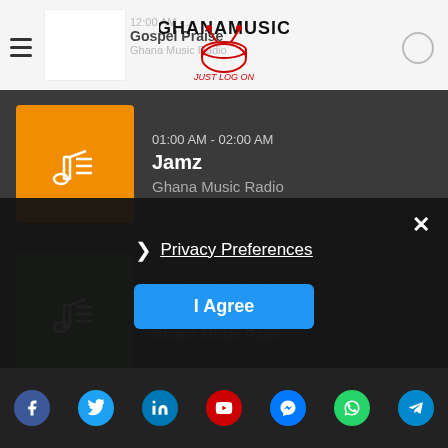GhanaMusic - Just Log On
01:00 AM - 02:00 AM
Jamz
Ghana Music Radio
02:00 AM - 03:00 AM
Yard Vibez
Ghana Music Radio
03:00 AM - 04:00 AM
Mixed Grill
Ghana Music Radio
Privacy Preferences
I Agree